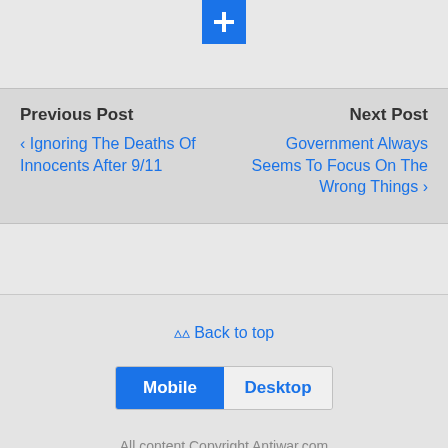[Figure (other): Blue plus button icon at top]
Previous Post
‹ Ignoring The Deaths Of Innocents After 9/11
Next Post
Government Always Seems To Focus On The Wrong Things ›
⌃ Back to top
Mobile  Desktop
All content Copyright Antiwar.com